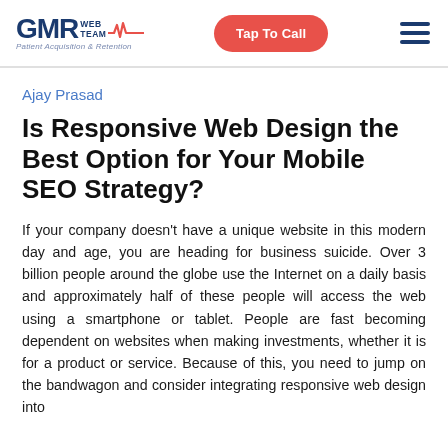GMR WEB TEAM | Patient Acquisition & Retention | Tap To Call
Ajay Prasad
Is Responsive Web Design the Best Option for Your Mobile SEO Strategy?
If your company doesn't have a unique website in this modern day and age, you are heading for business suicide. Over 3 billion people around the globe use the Internet on a daily basis and approximately half of these people will access the web using a smartphone or tablet. People are fast becoming dependent on websites when making investments, whether it is for a product or service. Because of this, you need to jump on the bandwagon and consider integrating responsive web design into